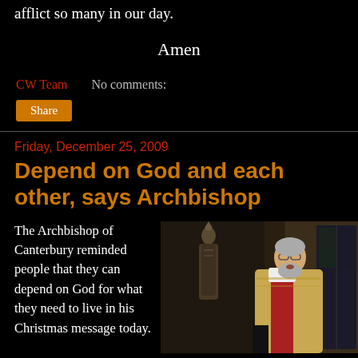afflict so many in our day.
Amen
CW Team
No comments:
Share
Friday, December 25, 2009
Depend on God and each other, says Archbishop
The Archbishop of Canterbury reminded people that they can depend on God for what they need to live in his Christmas message today.
[Figure (photo): Archbishop of Canterbury speaking at a pulpit, with a stone statue of a bishop in the background, in a cathedral setting. He is wearing white and gold vestments.]